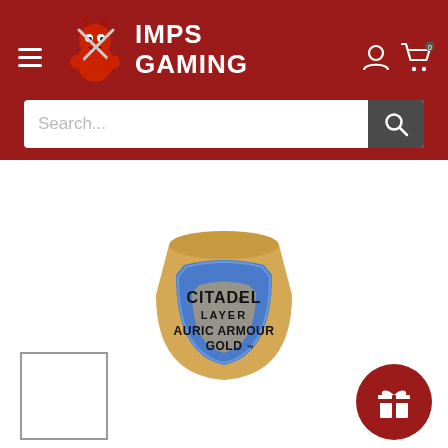Imps Gaming — navigation header with logo, hamburger menu, user icon, cart icon, and search bar
[Figure (photo): A Citadel Layer paint pot labeled 'Auric Armour Gold', tan/gold colored pot with blue shield label]
[Figure (photo): Small thumbnail image box (empty/white) at bottom left]
[Figure (illustration): Red circular gift/rewards button at bottom right with white gift box icon]